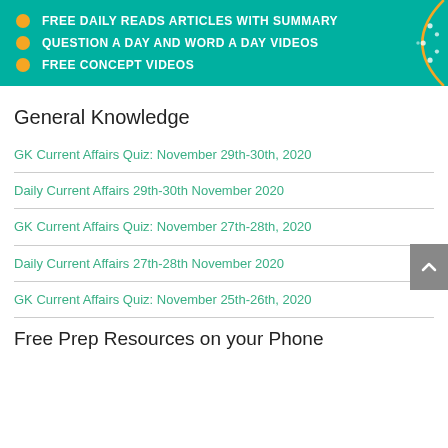[Figure (infographic): Teal banner with three orange bullet points listing: FREE DAILY READS ARTICLES WITH SUMMARY, QUESTION A DAY AND WORD A DAY VIDEOS, FREE CONCEPT VIDEOS; with decorative arc on the right]
General Knowledge
GK Current Affairs Quiz: November 29th-30th, 2020
Daily Current Affairs 29th-30th November 2020
GK Current Affairs Quiz: November 27th-28th, 2020
Daily Current Affairs 27th-28th November 2020
GK Current Affairs Quiz: November 25th-26th, 2020
Free Prep Resources on your Phone